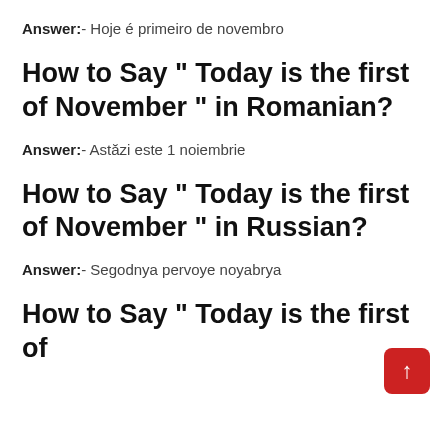Answer:- Hoje é primeiro de novembro
How to Say “ Today is the first of November ” in Romanian?
Answer:- Astăzi este 1 noiembrie
How to Say “ Today is the first of November ” in Russian?
Answer:- Segodnya pervoye noyabrya
How to Say “ Today is the first of